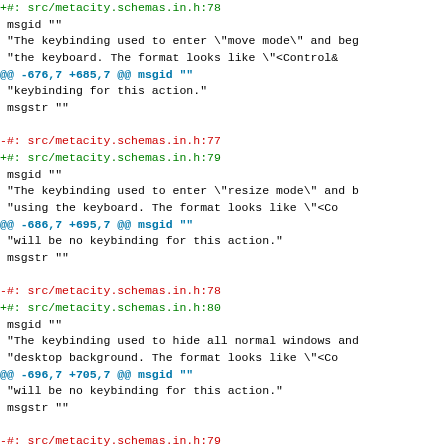diff code snippet showing changes to metacity.schemas.in.h source file references and gettext msgid/msgstr entries
+#: src/metacity.schemas.in.h:78
 msgid ""
 "The keybinding used to enter \"move mode\" and beg
 "the keyboard. The format looks like \"&lt;Control&
@@ -676,7 +685,7 @@ msgid ""
"keybinding for this action."
 msgstr ""
-#: src/metacity.schemas.in.h:77
+#: src/metacity.schemas.in.h:79
 msgid ""
 "The keybinding used to enter \"resize mode\" and b
 "using the keyboard. The format looks like \"&lt;Co
@@ -686,7 +695,7 @@ msgid ""
"will be no keybinding for this action."
 msgstr ""
-#: src/metacity.schemas.in.h:78
+#: src/metacity.schemas.in.h:80
 msgid ""
 "The keybinding used to hide all normal windows and
 "desktop background. The format looks like \"&lt;Co
@@ -696,7 +705,7 @@ msgid ""
"will be no keybinding for this action."
 msgstr ""
-#: src/metacity.schemas.in.h:79
+#: src/metacity.schemas.in.h:81
 msgid ""
 "The keybinding used to minimize a window. The form